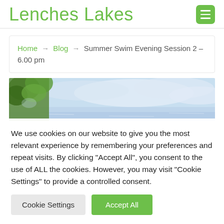Lenches Lakes
Home → Blog → Summer Swim Evening Session 2 – 6.00 pm
[Figure (photo): Outdoor lake scene with trees and cloudy sky]
We use cookies on our website to give you the most relevant experience by remembering your preferences and repeat visits. By clicking "Accept All", you consent to the use of ALL the cookies. However, you may visit "Cookie Settings" to provide a controlled consent.
Cookie Settings | Accept All